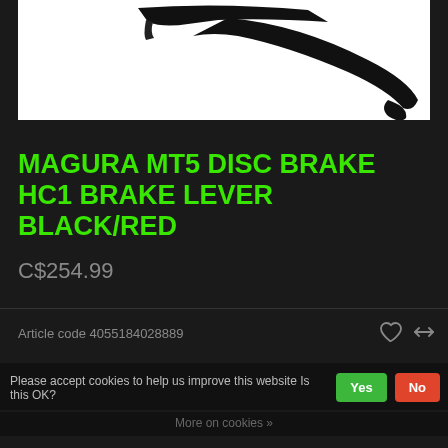[Figure (photo): Product photo of Magura MT5 disc brake HC1 brake lever in black, showing the curved lever arm on a white background]
MAGURA MT5 DISC BRAKE HC1 BRAKE LEVER BLACK/RED
C$254.99
Article code 4055184028889
Please accept cookies to help us improve this website Is this OK?  Yes  No
More on cookies »